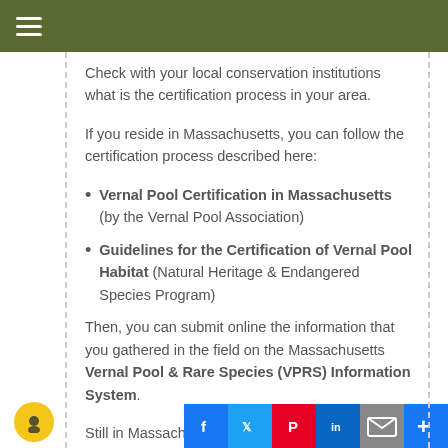≡
Check with your local conservation institutions what is the certification process in your area.
If you reside in Massachusetts, you can follow the certification process described here:
Vernal Pool Certification in Massachusetts (by the Vernal Pool Association)
Guidelines for the Certification of Vernal Pool Habitat (Natural Heritage & Endangered Species Program)
Then, you can submit online the information that you gathered in the field on the Massachusetts Vernal Pool & Rare Species (VPRS) Information System.
Still in Massachusetts, if yo